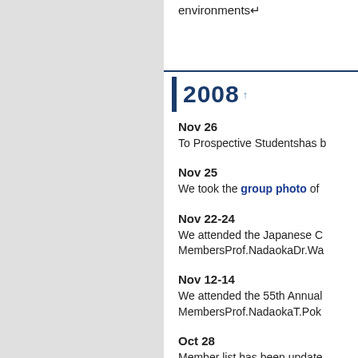environments↵
2008 ↑
Nov 26
To Prospective Studentshas b...
Nov 25
We took the group photo of...
Nov 22-24
We attended the Japanese C... MembersProf.NadaokaDr.Wa...
Nov 12-14
We attended the 55th Annual... MembersProf.NadaokaT.Pok...
Oct 28
Member list has been update...